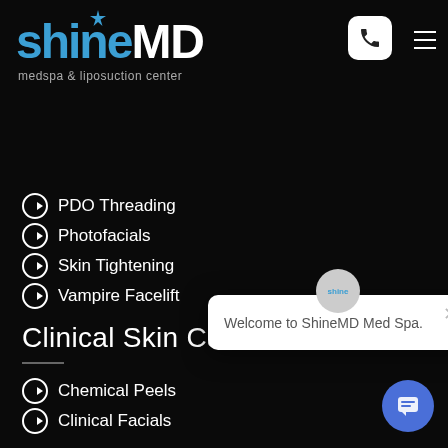[Figure (logo): ShineMD medspa & liposuction center logo with blue star accent]
PDO Threading
Photofacials
Skin Tightening
Vampire Facelift
Clinical Skin Care
Chemical Peels
Clinical Facials
Dermalinfusion
Dermaplaning
Skin Care Products
Welcome to ShineMD Med Spa.